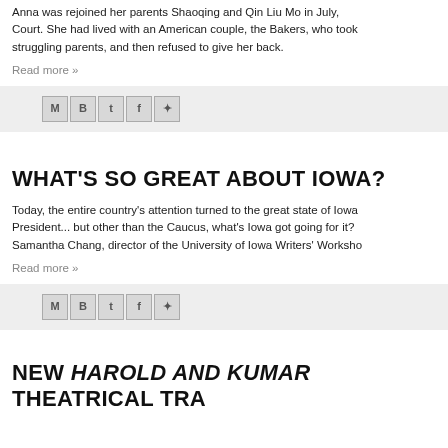Anna was rejoined her parents Shaoqing and Qin Liu Mo in July, Court. She had lived with an American couple, the Bakers, who took struggling parents, and then refused to give her back.
Read more »
[Figure (other): Social share bar with icons for Gmail, Blogger, Twitter, Facebook, Pinterest]
WHAT'S SO GREAT ABOUT IOWA?
Today, the entire country's attention turned to the great state of Iowa President... but other than the Caucus, what's Iowa got going for it? Samantha Chang, director of the University of Iowa Writers' Workshop
Read more »
[Figure (other): Social share bar with icons for Gmail, Blogger, Twitter, Facebook, Pinterest]
NEW HAROLD AND KUMAR THEATRICAL TRA